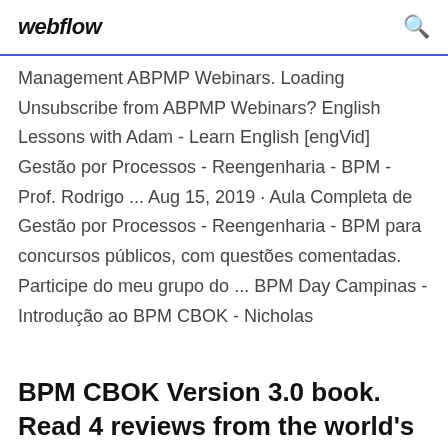webflow
Management ABPMP Webinars. Loading Unsubscribe from ABPMP Webinars? English Lessons with Adam - Learn English [engVid] Gestão por Processos - Reengenharia - BPM - Prof. Rodrigo ... Aug 15, 2019 · Aula Completa de Gestão por Processos - Reengenharia - BPM para concursos públicos, com questões comentadas. Participe do meu grupo do ... BPM Day Campinas - Introdução ao BPM CBOK - Nicholas
BPM CBOK Version 3.0 book. Read 4 reviews from the world's